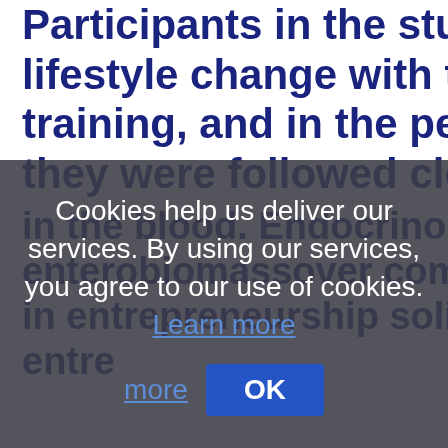Participants in the study wanted lifestyle change with the help of training, and in the period of the they were followed closely by he
Cookies help us deliver our services. By using our services, you agree to our use of cookies. Learn more